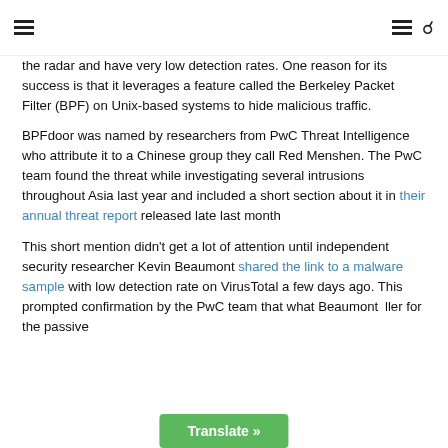≡ ≡ 🔍
the radar and have very low detection rates. One reason for its success is that it leverages a feature called the Berkeley Packet Filter (BPF) on Unix-based systems to hide malicious traffic.
BPFdoor was named by researchers from PwC Threat Intelligence who attribute it to a Chinese group they call Red Menshen. The PwC team found the threat while investigating several intrusions throughout Asia last year and included a short section about it in their annual threat report released late last month
This short mention didn't get a lot of attention until independent security researcher Kevin Beaumont shared the link to a malware sample with low detection rate on VirusTotal a few days ago. This prompted confirmation by the PwC team that what Beaumont ... ller for the passive